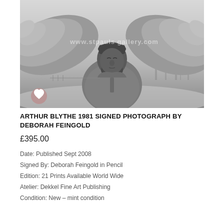[Figure (photo): Black and white photograph of a man wearing a knit hat and heavy coat, standing in front of a large bird sculpture with outstretched wings in a park-like winter setting. A watermark reads www.stpauls gallery.com. A heart/favourite icon appears in the lower left of the image.]
ARTHUR BLYTHE 1981 SIGNED PHOTOGRAPH BY DEBORAH FEINGOLD
£395.00
Date: Published Sept 2008
Signed By: Deborah Feingold in Pencil
Edition: 21 Prints Available World Wide
Atelier: Dekkel Fine Art Publishing
Condition: New – mint condition